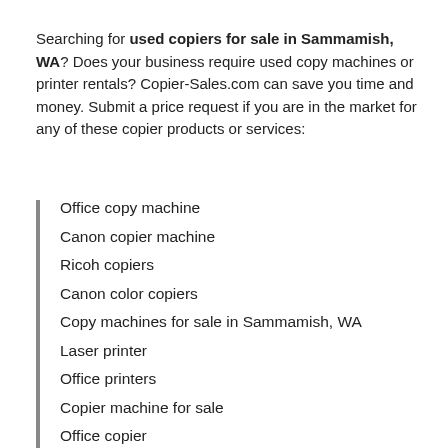Searching for used copiers for sale in Sammamish, WA? Does your business require used copy machines or printer rentals? Copier-Sales.com can save you time and money. Submit a price request if you are in the market for any of these copier products or services:
Office copy machine
Canon copier machine
Ricoh copiers
Canon color copiers
Copy machines for sale in Sammamish, WA
Laser printer
Office printers
Copier machine for sale
Office copier
Copier companies near Sammamish, WA